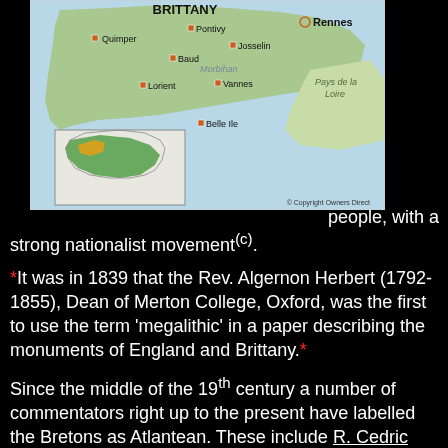[Figure (map): Map of Brittany region in France showing cities including Quimper, Pontivy, Rennes, Baud, Josselin, Morbihan, Lorient, Vannes, Belle Ile, Pays de la Loire, with an inset showing Brittany's location within France. Copyright Owners Direct.]
people, with a strong nationalist movement(c).
*It was in 1839 that the Rev. Algernon Herbert (1792-1855), Dean of Merton College, Oxford, was the first to use the term ‘megalithic’ in a paper describing the monuments of England and Brittany.*
Since the middle of the 19th century a number of commentators right up to the present have labelled the Bretons as Atlantean. These include R. Cedric Leonard(a), who In support of this idea cites both Stephen Oppenheimer and Herodotus, although he does so some reservations. Hank Harrison wrote Finding Atlantis in